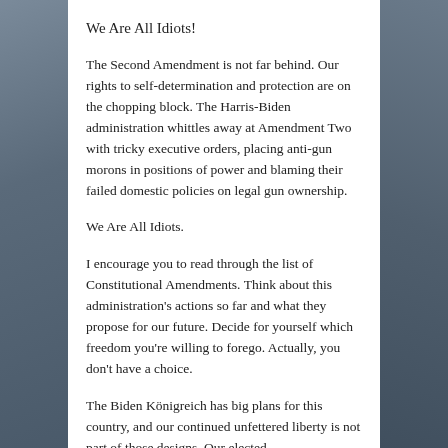We Are All Idiots!
The Second Amendment is not far behind. Our rights to self-determination and protection are on the chopping block. The Harris-Biden administration whittles away at Amendment Two with tricky executive orders, placing anti-gun morons in positions of power and blaming their failed domestic policies on legal gun ownership.
We Are All Idiots.
I encourage you to read through the list of Constitutional Amendments. Think about this administration's actions so far and what they propose for our future. Decide for yourself which freedom you're willing to forego. Actually, you don't have a choice.
The Biden Königreich has big plans for this country, and our continued unfettered liberty is not part of those designs. Our elected misrepresentatives, presidential and otherwise, have their plans.